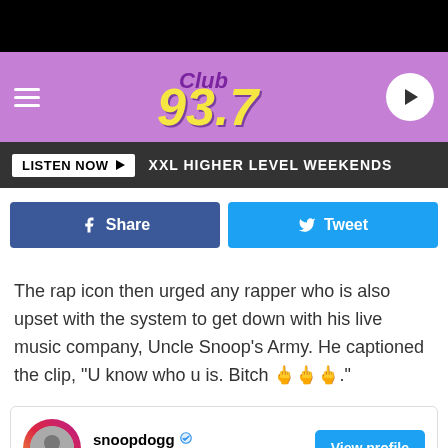[Figure (screenshot): Club 93.7 radio station website header with purple background, hamburger menu, Club 93.7 logo in yellow italic text, and play button]
LISTEN NOW ▶  XXL HIGHER LEVEL WEEKENDS
[Figure (other): Facebook Share button and Twitter Tweet button]
The rap icon then urged any rapper who is also upset with the system to get down with his live music company, Uncle Snoop's Army. He captioned the clip, "U know who u is. Bitch 🖕🖕🖕."
[Figure (other): Instagram embed card for snoopdogg with 75.6M followers and a View profile button]